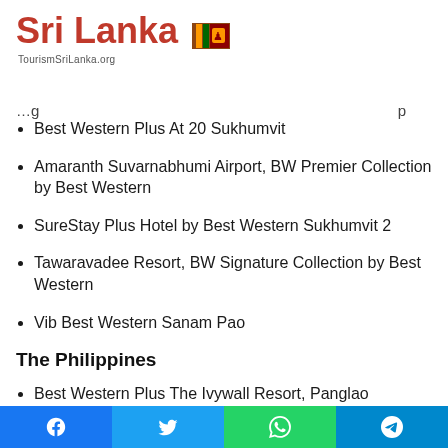Sri Lanka TourismSriLanka.org
…g… …p…
Best Western Plus At 20 Sukhumvit
Amaranth Suvarnabhumi Airport, BW Premier Collection by Best Western
SureStay Plus Hotel by Best Western Sukhumvit 2
Tawaravadee Resort, BW Signature Collection by Best Western
Vib Best Western Sanam Pao
The Philippines
Best Western Plus The Ivywall Resort, Panglao
SureStay Plus Hotel by Best Western AC LUXE Angeles